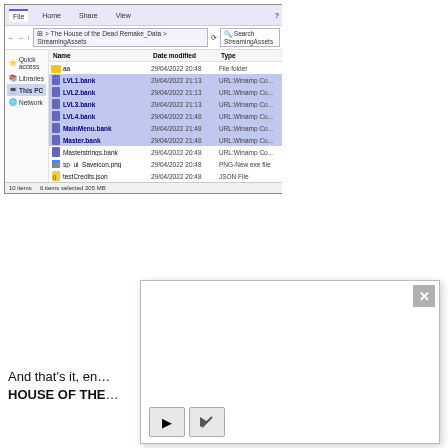[Figure (screenshot): Windows File Explorer window showing The House of the Dead Remake_Data > StreamingAssets folder with files including aa folder, LVL1.bank through LVL4.bank, MainMenu.bank, Master.bank, Masterstrings.bank, sp_ui_Saveicon.png, and testCredits.json. Several bank files are selected (highlighted in blue). Status bar shows 10 items, 6 items selected, 205 MB.]
[Figure (screenshot): A white overlay dialog/panel with a close button (X) in the top-right corner, an empty white content area, and two control buttons at the bottom: a play button (triangle) and a mute/speaker button with an X.]
And that's it, en...
HOUSE OF THE...